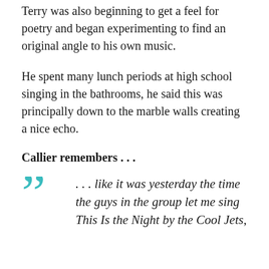Terry was also beginning to get a feel for poetry and began experimenting to find an original angle to his own music.
He spent many lunch periods at high school singing in the bathrooms, he said this was principally down to the marble walls creating a nice echo.
Callier remembers . . .
. . . like it was yesterday the time the guys in the group let me sing This Is the Night by the Cool Jets,